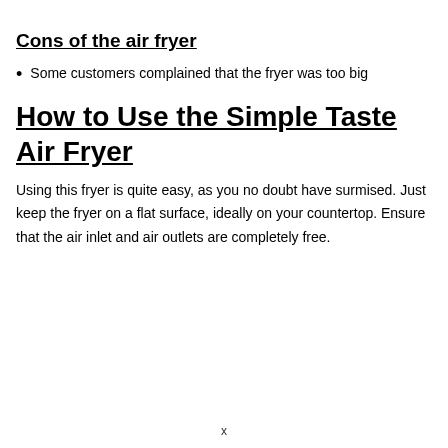Cons of the air fryer
Some customers complained that the fryer was too big
How to Use the Simple Taste Air Fryer
Using this fryer is quite easy, as you no doubt have surmised. Just keep the fryer on a flat surface, ideally on your countertop. Ensure that the air inlet and air outlets are completely free.
x